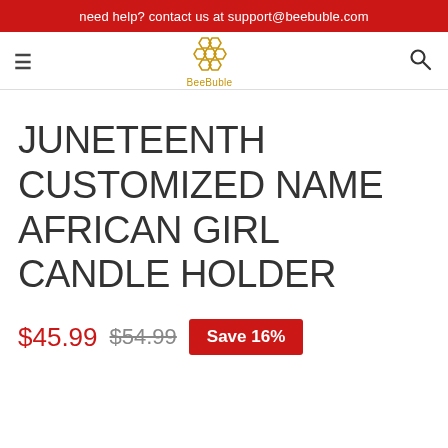need help? contact us at support@beebuble.com
[Figure (logo): BeeBuble logo with honeycomb SVG icon and text 'BeeBuble' in gold below]
JUNETEENTH CUSTOMIZED NAME AFRICAN GIRL CANDLE HOLDER
$45.99  $54.99  Save 16%